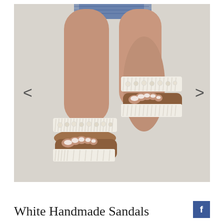[Figure (photo): Product photo of white handmade sandals with fringe and pearl/bead embellishments on the straps, shown being worn on a model's feet with tan skin and white nail polish. Brown leather footbed visible. Light grey/beige background. Navigation arrows on left and right sides of image.]
White Handmade Sandals